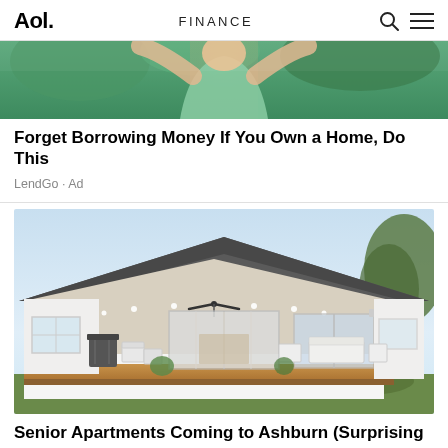Aol. FINANCE
[Figure (photo): Cropped photo of a person in a green/mint top with arms raised, outdoors with plants in background]
Forget Borrowing Money If You Own a Home, Do This
LendGo · Ad
[Figure (photo): Photo of a large white single-story house with a wide covered porch/deck, ceiling fan, outdoor furniture, and lush garden surroundings]
Senior Apartments Coming to Ashburn (Surprising Prices)
Search Ads | Tarzo · Ad